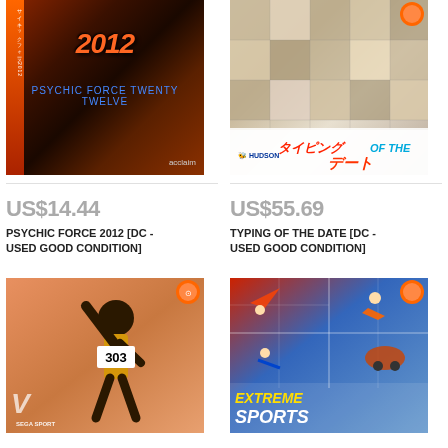[Figure (photo): Psychic Force 2012 Dreamcast game cover art - dark background with orange/red stylized title text, vertical strip on left side]
[Figure (photo): Typing of the Date Dreamcast game cover art - mosaic tile background with Japanese title and Hudson logo]
US$14.44
US$55.69
PSYCHIC FORCE 2012 [DC - USED GOOD CONDITION]
TYPING OF THE DATE [DC - USED GOOD CONDITION]
[Figure (photo): Sega Sports Dreamcast game cover art - athlete with bib number 303, orange background]
[Figure (photo): Extreme Sports Dreamcast game cover art - grid of extreme sports images, red and blue background]